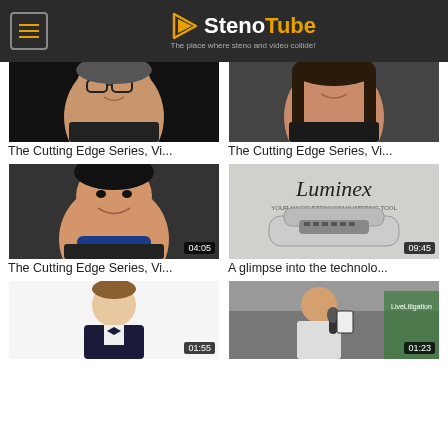StenoTube – The place where steno and video collide!
[Figure (screenshot): Video thumbnail: woman with glasses, dark top, smiling. No duration shown (cropped top).]
[Figure (screenshot): Video thumbnail: woman with long dark hair, smiling, dark top. No duration shown (cropped top).]
The Cutting Edge Series, Vi...
The Cutting Edge Series, Vi...
[Figure (screenshot): Video thumbnail: Asian woman smiling, blue turtleneck, dark jacket. Duration: 04:05.]
[Figure (screenshot): Video thumbnail: Luminex steno machine product shot, grey background. Duration: 09:45.]
The Cutting Edge Series, Vi...
A glimpse into the technolo...
[Figure (screenshot): Video thumbnail: young man in suit with bow tie, white background. Duration: 01:55.]
[Figure (screenshot): Video thumbnail: man holding small device/microphone in office corridor. Duration: 01:23.]